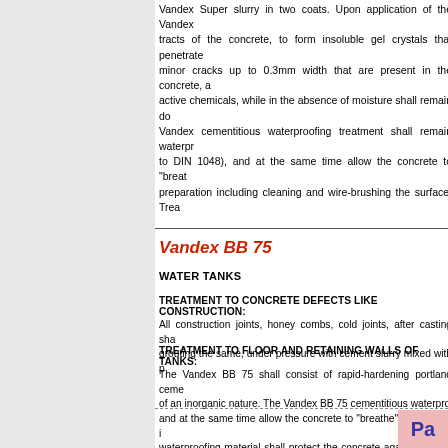Vandex Super slurry in two coats. Upon application of the Vandex tracts of the concrete, to form insoluble gel crystals that penetrate minor cracks up to 0.3mm width that are present in the concrete, a active chemicals, while in the absence of moisture shall remain do Vandex cementitious waterproofing treatment shall remain waterpr to DIN 1048), and at the same time allow the concrete to "breathe preparation including cleaning and wire-brushing the surface. Trea
Vandex BB 75
WATER TANKS
TREATMENT TO CONCRETE DEFECTS LIKE CONSTRUCTION:
All construction joints, honey combs, cold joints, after casting sha grouting the same, under pressure with cement slurry mixed with p
TREATMENT TO FLOOR AND RETAINING WALLS OF TANKS:
The Vandex BB 75 shall consist of rapid-hardening portland ceme of an inorganic nature. The Vandex BB 75 cementitious waterpro and at the same time allow the concrete to "breathe" by allowing i waterproofing material shall protect the concrete against ground wa by water jetting, wire brushing, etc. Pre-wetting the surface and ap